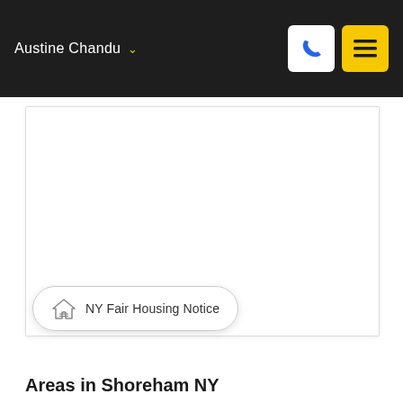Austine Chandu
[Figure (screenshot): White content area / map placeholder box]
NY Fair Housing Notice
Areas in Shoreham NY